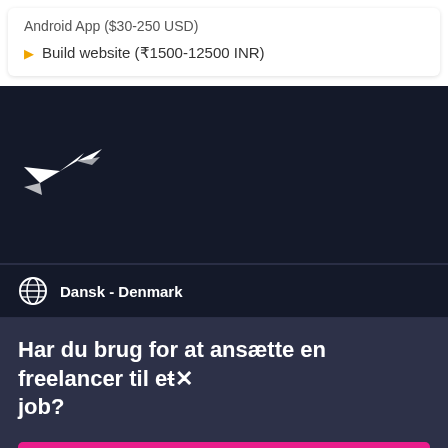Android App ($30-250 USD)
Build website (₹1500-12500 INR)
[Figure (logo): Freelancer hummingbird logo in white on dark navy background]
Dansk - Denmark
Har du brug for at ansætte en freelancer til et job?
Opret et projekt